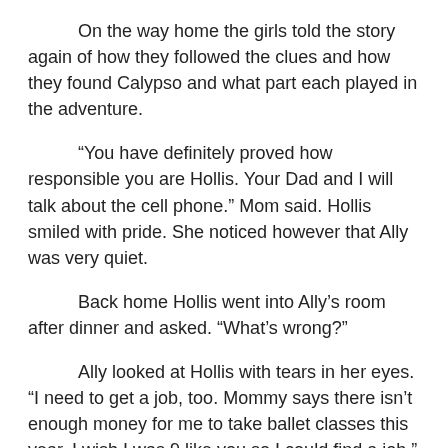On the way home the girls told the story again of how they followed the clues and how they found Calypso and what part each played in the adventure.
“You have definitely proved how responsible you are Hollis. Your Dad and I will talk about the cell phone.” Mom said. Hollis smiled with pride. She noticed however that Ally was very quiet.
Back home Hollis went into Ally’s room after dinner and asked. “What’s wrong?”
Ally looked at Hollis with tears in her eyes. “I need to get a job, too. Mommy says there isn’t enough money for me to take ballet classes this year. I wish I was 9 like you so I could find a job.”